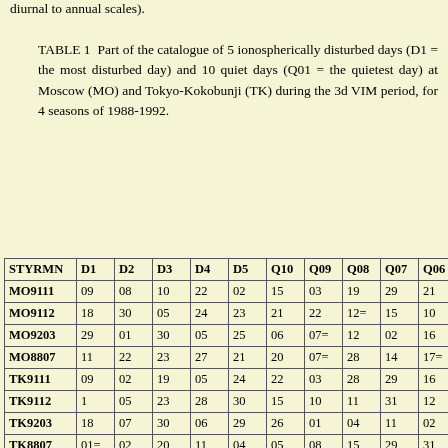diurnal to annual scales).
TABLE 1 Part of the catalogue of 5 ionospherically disturbed days (D1 = the most disturbed day) and 10 quiet days (Q01 = the quietest day) at Moscow (MO) and Tokyo-Kokobunji (TK) during the 3d VIM period, for 4 seasons of 1988-1992.
| STYRMN | D1 | D2 | D3 | D4 | D5 | Q10 | Q09 | Q08 | Q07 | Q06 |
| --- | --- | --- | --- | --- | --- | --- | --- | --- | --- | --- |
| MO9111 | 09 | 08 | 10 | 22 | 02 | 15 | 03 | 19 | 29 | 21 |
| MO9112 | 18 | 30 | 05 | 24 | 23 | 21 | 22 | 12= | 15 | 10 |
| MO9203 | 29 | 01 | 30 | 05 | 25 | 06 | 07= | 12 | 02 | 16 |
| MO8807 | 11 | 22 | 23 | 27 | 21 | 20 | 07= | 28 | 14 | 17= |
| TK9111 | 09 | 02 | 19 | 05 | 24 | 22 | 03 | 28 | 29 | 16 |
| TK9112 | 1 | 05 | 23 | 28 | 30 | 15 | 10 | 11 | 31 | 12 |
| TK9203 | 18 | 07 | 30 | 06 | 29 | 26 | 01 | 04 | 11 | 02 |
| TK8807 | 01= | 02 | 20 | 11 | 04 | 05 | 08 | 15 | 29 | 31 |